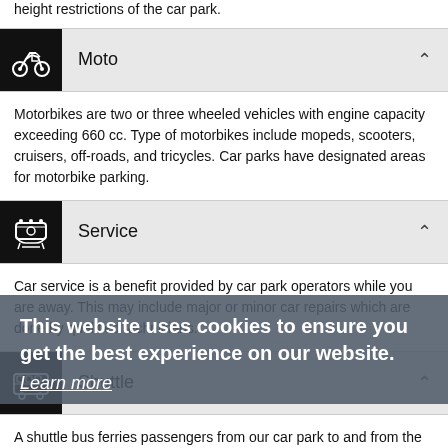height restrictions of the car park.
Moto
Motorbikes are two or three wheeled vehicles with engine capacity exceeding 660 cc. Type of motorbikes include mopeds, scooters, cruisers, off-roads, and tricycles. Car parks have designated areas for motorbike parking.
Service
Car service is a benefit provided by car park operators while you are away. This may include major or minor car repairs which are done by qualified technicians.
Shuttle
A shuttle bus ferries passengers from our car park to and from the airport. The shuttle buses are equipped with extra luggage space for its passengers. We provide regular shuttle bus services or an on-demand basis service.
Long Term